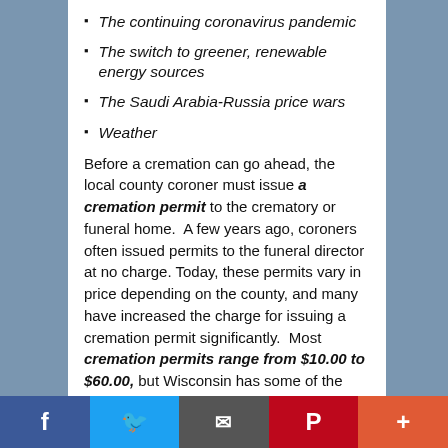The continuing coronavirus pandemic
The switch to greener, renewable energy sources
The Saudi Arabia-Russia price wars
Weather
Before a cremation can go ahead, the local county coroner must issue a cremation permit to the crematory or funeral home.  A few years ago, coroners often issued permits to the funeral director at no charge. Today, these permits vary in price depending on the county, and many have increased the charge for issuing a cremation permit significantly.  Most cremation permits range from $10.00 to $60.00, but Wisconsin has some of the highest charges in the country. A cremation permit in Milwaukee County costs $357.00.
With the current focus on renewable energy and reducing carbon emissions, it is quite possible that new legislation